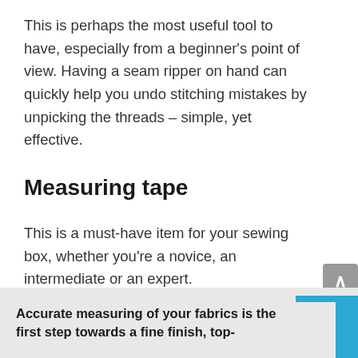This is perhaps the most useful tool to have, especially from a beginner's point of view. Having a seam ripper on hand can quickly help you undo stitching mistakes by unpicking the threads – simple, yet effective.
Measuring tape
This is a must-have item for your sewing box, whether you're a novice, an intermediate or an expert.
Accurate measuring of your fabrics is the first step towards a fine finish, top-